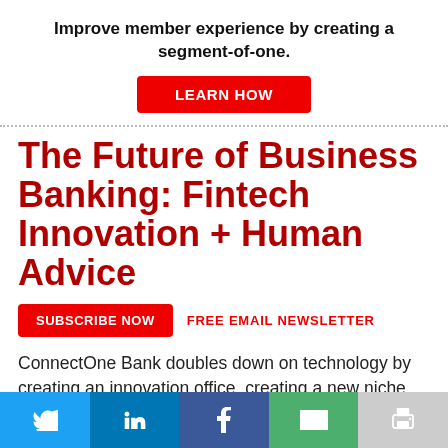Improve member experience by creating a segment-of-one.
LEARN HOW
The Future of Business Banking: Fintech Innovation + Human Advice
SUBSCRIBE NOW   FREE EMAIL NEWSLETTER
ConnectOne Bank doubles down on technology by creating an innovation office, creating a new niche vertical, and hiring more